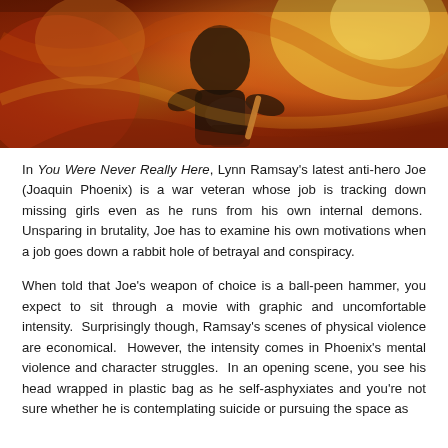[Figure (photo): A dramatic, orange and red-toned painting or movie poster image showing a figure holding another person, with an intense warm color palette suggesting fire or heat.]
In You Were Never Really Here, Lynn Ramsay's latest anti-hero Joe (Joaquin Phoenix) is a war veteran whose job is tracking down missing girls even as he runs from his own internal demons. Unsparing in brutality, Joe has to examine his own motivations when a job goes down a rabbit hole of betrayal and conspiracy.
When told that Joe's weapon of choice is a ball-peen hammer, you expect to sit through a movie with graphic and uncomfortable intensity. Surprisingly though, Ramsay's scenes of physical violence are economical. However, the intensity comes in Phoenix's mental violence and character struggles. In an opening scene, you see his head wrapped in plastic bag as he self-asphyxiates and you're not sure whether he is contemplating suicide or pursuing the space as